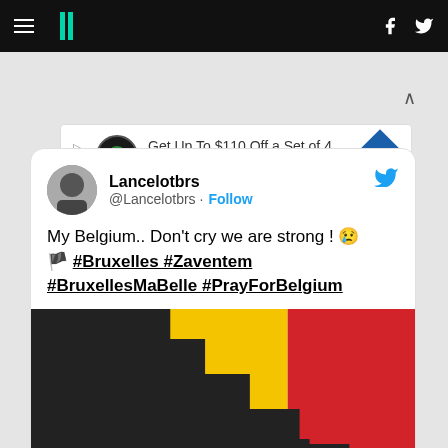HuffPost navigation bar with hamburger menu, logo, Facebook and Twitter icons
[Figure (infographic): Advertisement banner: Get Up To $110 Off a Set of 4 Select Firestone Tires, with Firestone logo, directional arrow diamond icon, and dismiss chevron]
Lancelotbrs
@Lancelotbrs · Follow
My Belgium.. Don't cry we are strong ! 😢
🏴 #Bruxelles #Zaventem
#BruxellesMaBelle #PrayForBelgium
[Figure (illustration): Belgian flag (black, yellow, red vertical stripes) with a staircase/broken overlay in dark grey suggesting a crumbled or mourning effect]